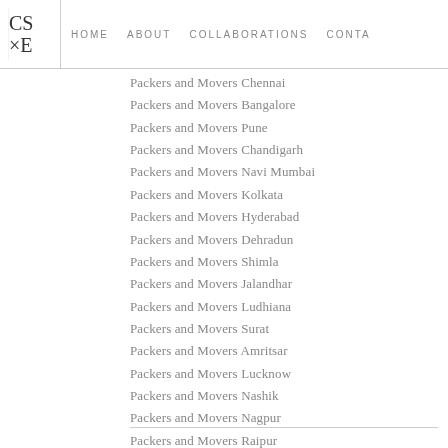CS×E | HOME  ABOUT  COLLABORATIONS  CONTA
Packers and Movers Chennai
Packers and Movers Bangalore
Packers and Movers Pune
Packers and Movers Chandigarh
Packers and Movers Navi Mumbai
Packers and Movers Kolkata
Packers and Movers Hyderabad
Packers and Movers Dehradun
Packers and Movers Shimla
Packers and Movers Jalandhar
Packers and Movers Ludhiana
Packers and Movers Surat
Packers and Movers Amritsar
Packers and Movers Lucknow
Packers and Movers Nashik
Packers and Movers Nagpur
Packers and Movers Raipur
REPLY